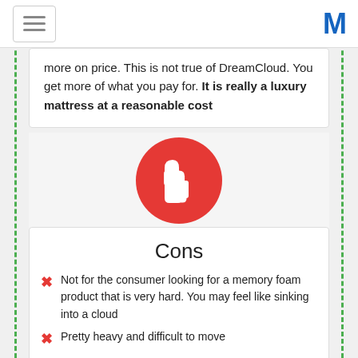[hamburger menu] [M logo]
more on price. This is not true of DreamCloud. You get more of what you pay for. It is really a luxury mattress at a reasonable cost
[Figure (illustration): Red circle with white thumbs-down icon]
Cons
Not for the consumer looking for a memory foam product that is very hard. You may feel like sinking into a cloud
Pretty heavy and difficult to move